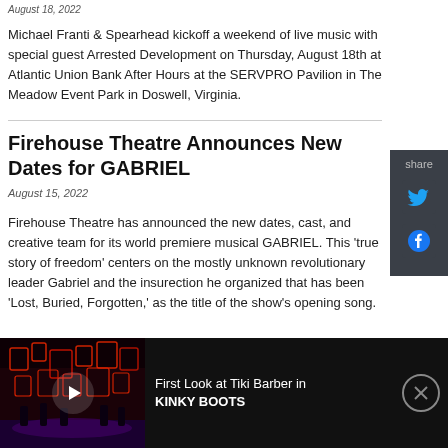August 18, 2022
Michael Franti & Spearhead kickoff a weekend of live music with special guest Arrested Development on Thursday, August 18th at Atlantic Union Bank After Hours at the SERVPRO Pavilion in The Meadow Event Park in Doswell, Virginia.
Firehouse Theatre Announces New Dates for GABRIEL
August 15, 2022
Firehouse Theatre has announced the new dates, cast, and creative team for its world premiere musical GABRIEL. This 'true story of freedom' centers on the mostly unknown revolutionary leader Gabriel and the insurection he organized that has been 'Lost, Buried, Forgotten,' as the title of the show's opening song.
[Figure (screenshot): Bottom advertisement bar showing a stage production thumbnail with play button on the left, and text 'First Look at Tiki Barber in KINKY BOOTS' on the right with a close button.]